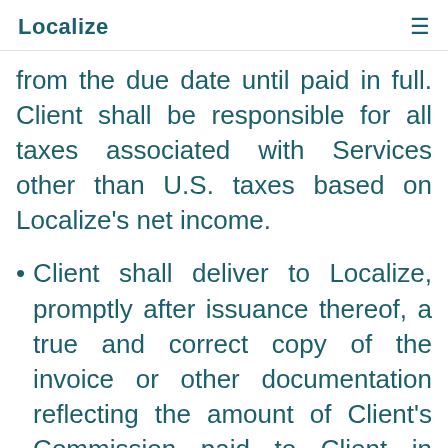Localize
from the due date until paid in full. Client shall be responsible for all taxes associated with Services other than U.S. taxes based on Localize's net income.
Client shall deliver to Localize, promptly after issuance thereof, a true and correct copy of the invoice or other documentation reflecting the amount of Client's Commission paid to Client in connection